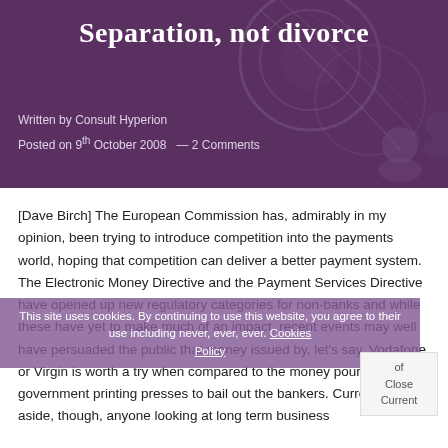Separation, not divorce
Written by Consult Hyperion
Posted on 9th October 2008  — 2 Comments
[Dave Birch] The European Commission has, admirably in my opinion, been trying to introduce competition into the payments world, hoping that competition can deliver a better payment system. The Electronic Money Directive and the Payment Services Directive have opened up new regulatory categories for non-banks and while these have yet to make much of an impact, recent events may well have persuaded the public that money issued by, let's say, Vodafone or Virgin is worth a try when compared to the money pouring out of government printing presses to bail out the bankers. Current issues aside, though, anyone looking at long term business
This site uses cookies. By continuing to use this website, you agree to their use including never, ever, ever. Cookies Policy
of
Close
Current